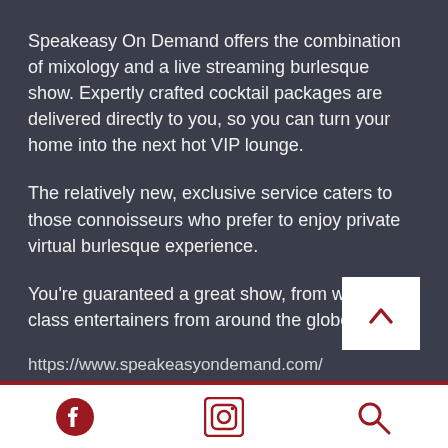Speakeasy On Demand offers the combination of mixology and a live streaming burlesque show. Expertly crafted cocktail packages are delivered directly to you, so you can turn your home into the next hot VIP lounge.
The relatively new, exclusive service caters to those connoisseurs who prefer to enjoy private virtual burlesque experience.
You're guaranteed a great show, from world-class entertainers from around the globe.
https://www.speakeasyondemand.com/
[Figure (other): White scroll-to-top button with red chevron arrow pointing up]
Footer bar with Facebook icon, Instagram icon, and Search icon in dark red/crimson color